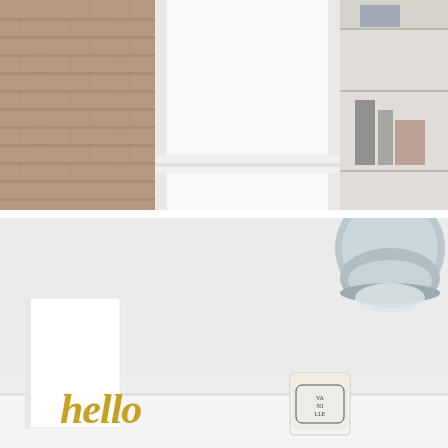[Figure (photo): Interior room photo showing a white painted fireplace mantel or architectural column structure, with exposed brick wall visible on the left side and built-in white shelving unit on the right with items on shelves.]
[Figure (photo): Close-up shelf vignette photo showing a white canvas leaning against wall, a gold cursive 'hello' word sign, a Diptyque Vanille candle in glass jar, and a pale blue industrial-style pendant lamp hanging from above.]